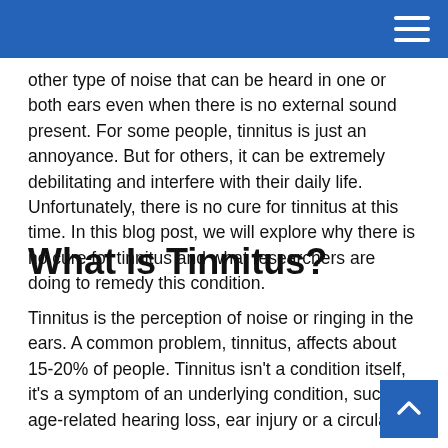other type of noise that can be heard in one or both ears even when there is no external sound present. For some people, tinnitus is just an annoyance. But for others, it can be extremely debilitating and interfere with their daily life. Unfortunately, there is no cure for tinnitus at this time. In this blog post, we will explore why there is no cure for tinnitus and what researchers are doing to remedy this condition.
What Is Tinnitus?
Tinnitus is the perception of noise or ringing in the ears. A common problem, tinnitus, affects about 15-20% of people. Tinnitus isn't a condition itself, it's a symptom of an underlying condition, such as age-related hearing loss, ear injury or a circulatory